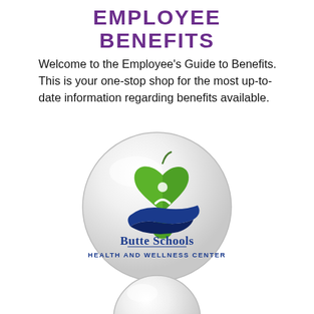EMPLOYEE BENEFITS
Welcome to the Employee's Guide to Benefits. This is your one-stop shop for the most up-to-date information regarding benefits available.
[Figure (logo): Circular badge logo for Butte Schools Health and Wellness Center, featuring a green apple/heart shape with a person figure and blue swoosh, with text 'Butte Schools Health and Wellness Center']
[Figure (logo): Partial circular badge at bottom of page, cut off]